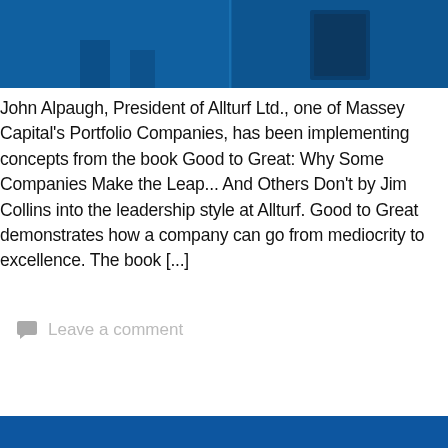[Figure (photo): Partial view of a blue-tinted photo showing people and what appears to be a book or device, top portion of an image that continues from previous page]
John Alpaugh, President of Allturf Ltd., one of Massey Capital's Portfolio Companies, has been implementing concepts from the book Good to Great: Why Some Companies Make the Leap... And Others Don't by Jim Collins into the leadership style at Allturf. Good to Great demonstrates how a company can go from mediocrity to excellence. The book [...]
Leave a comment
[Figure (photo): Bottom edge of another blue-tinted photo, partial view at the bottom of the page]